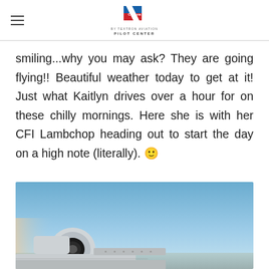Cesna Pilot Center (by Textron Aviation)
smiling...why you may ask? They are going flying!! Beautiful weather today to get at it! Just what Kaitlyn drives over a hour for on these chilly mornings. Here she is with her CFI Lambchop heading out to start the day on a high note (literally). 🙂
[Figure (photo): View from inside a small aircraft in flight, showing part of the propeller and engine cowling in the foreground, with a clear blue sky above and ground/landscape visible at the bottom.]